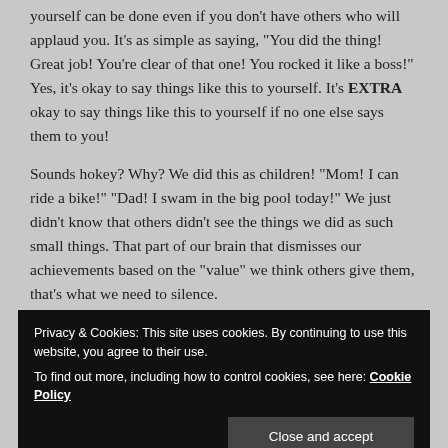yourself can be done even if you don’t have others who will applaud you. It’s as simple as saying, “You did the thing! Great job! You’re clear of that one! You rocked it like a boss!” Yes, it’s okay to say things like this to yourself. It’s EXTRA okay to say things like this to yourself if no one else says them to you!
Sounds hokey? Why? We did this as children! “Mom! I can ride a bike!” “Dad! I swam in the big pool today!” We just didn’t know that others didn’t see the things we did as such small things. That part of our brain that dismisses our achievements based on the “value” we think others give them, that’s what we need to silence.
Privacy & Cookies: This site uses cookies. By continuing to use this website, you agree to their use.
To find out more, including how to control cookies, see here: Cookie Policy
Close and accept
friends.